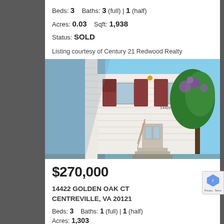Beds: 3   Baths: 3 (full) | 1 (half)
Acres: 0.03   Sqft: 1,938
Status: SOLD
Listing courtesy of Century 21 Redwood Realty
[Figure (photo): Exterior photo of a white townhouse with red shutters, front steps, and a tree with purple flowers on the right side]
$270,000
14422 GOLDEN OAK CT
CENTREVILLE, VA 20121
Beds: 3   Baths: 1 (full) | 1 (half)